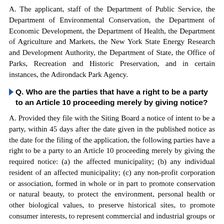A. The applicant, staff of the Department of Public Service, the Department of Environmental Conservation, the Department of Economic Development, the Department of Health, the Department of Agriculture and Markets, the New York State Energy Research and Development Authority, the Department of State, the Office of Parks, Recreation and Historic Preservation, and in certain instances, the Adirondack Park Agency.
Q. Who are the parties that have a right to be a party to an Article 10 proceeding merely by giving notice?
A. Provided they file with the Siting Board a notice of intent to be a party, within 45 days after the date given in the published notice as the date for the filing of the application, the following parties have a right to be a party to an Article 10 proceeding merely by giving the required notice: (a) the affected municipality; (b) any individual resident of an affected municipality; (c) any non-profit corporation or association, formed in whole or in part to promote conservation or natural beauty, to protect the environment, personal health or other biological values, to preserve historical sites, to promote consumer interests, to represent commercial and industrial groups or to promote the orderly development of any area in which the facility is to be located; and (d) any other municipality or resident of such municipality located within a five mile radius of such proposed facility (their notice of intent must